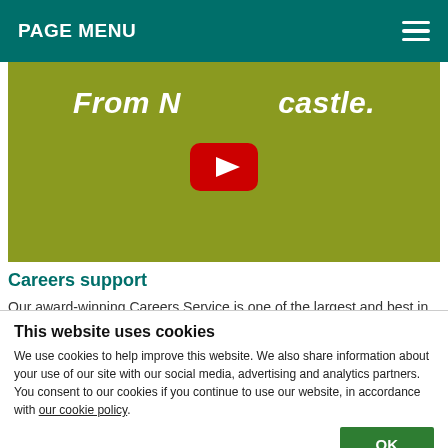PAGE MENU
[Figure (screenshot): YouTube video thumbnail with olive/green background showing text 'From Newcastle.' with a YouTube play button overlay in the center]
Careers support
Our award-winning Careers Service is one of the largest and best in the country, and we have strong links with employers.
This website uses cookies
We use cookies to help improve this website. We also share information about your use of our site with our social media, advertising and analytics partners. You consent to our cookies if you continue to use our website, in accordance with our cookie policy.
OK
Necessary  Preferences  Statistics  Marketing